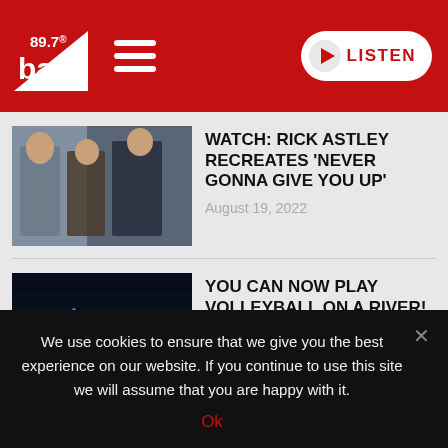89.7 Bay FM — LISTEN
[Figure (screenshot): Article thumbnail: Rick Astley recreating Never Gonna Give You Up music video]
WATCH: RICK ASTLEY RECREATES 'NEVER GONNA GIVE YOU UP'
August 19, 2022
[Figure (photo): Night photo of a river with blue and green lights, volleyball nets visible on the water]
YOU CAN NOW PLAY VOLLEYBALL ON A RIVER!
August 19, 2022
We use cookies to ensure that we give you the best experience on our website. If you continue to use this site we will assume that you are happy with it.
Ok